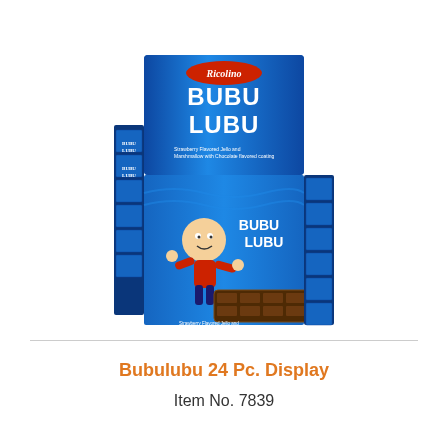[Figure (photo): A display box of Bubu Lubu candy bars by Ricolino. The box is blue with bold white text reading 'BUBU LUBU'. Multiple individually wrapped chocolate candy bars are shown in a retail display box. A cartoon character (boy in red outfit) is featured on the packaging.]
Bubulubu 24 Pc. Display
Item No. 7839